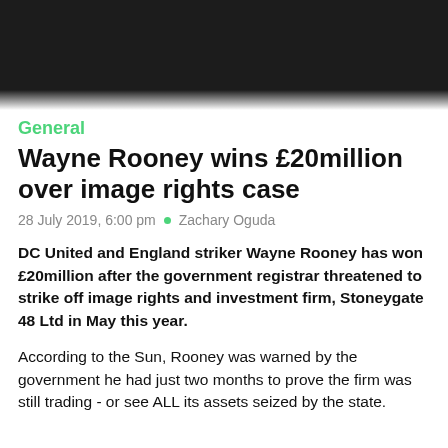[Figure (photo): Photo of Wayne Rooney wearing a dark jersey with red stripes, partially visible at top of page]
General
Wayne Rooney wins £20million over image rights case
28 July 2019, 6:00 pm  •  Zachary Oguda
DC United and England striker Wayne Rooney has won £20million after the government registrar threatened to strike off image rights and investment firm, Stoneygate 48 Ltd in May this year.
According to the Sun, Rooney was warned by the government he had just two months to prove the firm was still trading - or see ALL its assets seized by the state.